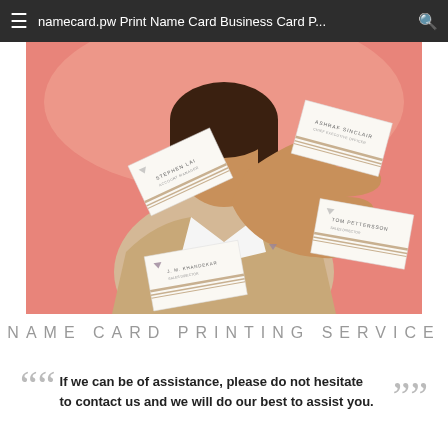namecard.pw Print Name Card Business Card P...
[Figure (photo): Woman in beige blazer holding up her hand toward camera, surrounded by floating business cards with names like Stephen Lai, Tom Pettersson, J.M. Khandekar, Ashraf Sinclair on a pink/coral background.]
NAME CARD PRINTING SERVICE
““ If we can be of assistance, please do not hesitate to contact us and we will do our best to assist you. ””